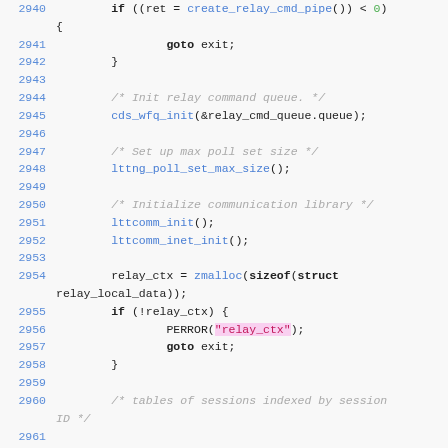[Figure (screenshot): Source code snippet showing C code lines 2940-2961, with syntax highlighting. Line numbers in blue on left, keywords in bold, function calls in blue, string literals with pink background, comments in gray italic, numeric literal 0 in green.]